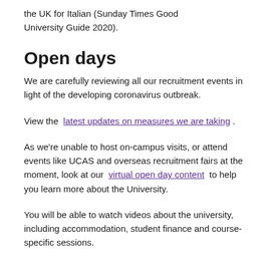the UK for Italian (Sunday Times Good University Guide 2020).
Open days
We are carefully reviewing all our recruitment events in light of the developing coronavirus outbreak.
View the  latest updates on measures we are taking .
As we're unable to host on-campus visits, or attend events like UCAS and overseas recruitment fairs at the moment, look at our  virtual open day content  to help you learn more about the University.
You will be able to watch videos about the university, including accommodation, student finance and course-specific sessions.